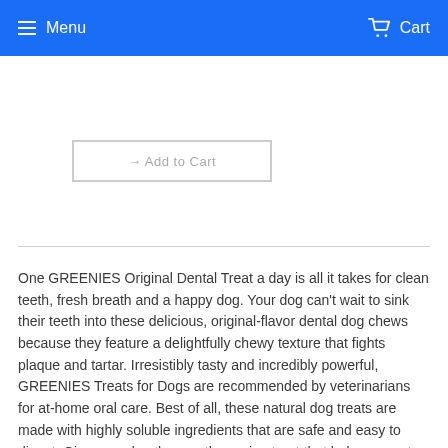Menu  Cart
[Figure (screenshot): Add to Cart button with grey border on white background]
One GREENIES Original Dental Treat a day is all it takes for clean teeth, fresh breath and a happy dog. Your dog can't wait to sink their teeth into these delicious, original-flavor dental dog chews because they feature a delightfully chewy texture that fights plaque and tartar. Irresistibly tasty and incredibly powerful, GREENIES Treats for Dogs are recommended by veterinarians for at-home oral care. Best of all, these natural dog treats are made with highly soluble ingredients that are safe and easy to digest. Give your dog the mouth-wowing treat that helps promote their overall health with GREENIES